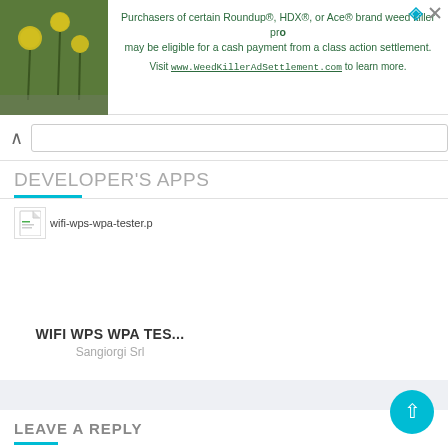[Figure (screenshot): Advertisement banner with plant/dandelion photo on left and text about Roundup, HDX, or Ace brand weed killer class action settlement on right]
DEVELOPER'S APPS
wifi-wps-wpa-tester.p
WIFI WPS WPA TES...
Sangiorgi Srl
LEAVE A REPLY